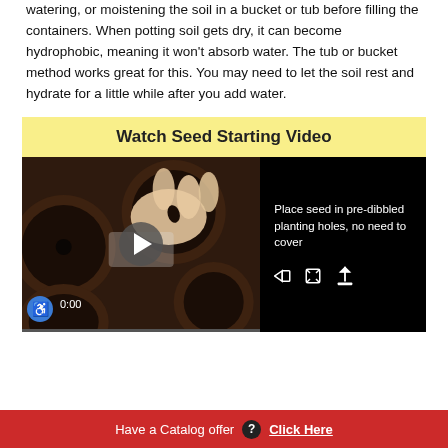watering, or moistening the soil in a bucket or tub before filling the containers. When potting soil gets dry, it can become hydrophobic, meaning it won't absorb water. The tub or bucket method works great for this. You may need to let the soil rest and hydrate for a little while after you add water.
Watch Seed Starting Video
[Figure (screenshot): Video player showing a hand placing a seed into a pre-dibbled planting hole in dark soil. Right panel shows text: 'Place seed in pre-dibbled planting holes, no need to cover'. Video shows 0:00 timestamp with play button overlay, accessibility icon, and video controls.]
Have a Catalog offer ? Click Here